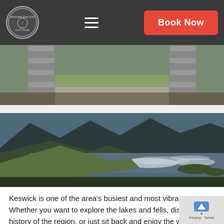Bramblewood Cottage – navigation bar with logo, hamburger menu, and Book Now button
[Figure (photo): Partial photo of stone gate/wall structure with green moss and gravel driveway]
[Figure (photo): Aerial landscape photo of Lake District showing mountains, Derwentwater lake, green hills and scattered clouds]
Keswick is one of the area's busiest and most vibrant towns. Whether you want to explore the lakes and fells, discover the history of the region, or just sit back and enjoy the wealth of art and culture that the Lake District has to offer, Keswick has something for everyone.